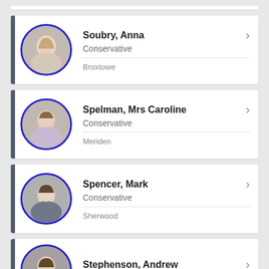Soubry, Anna | Conservative | Broxtowe
Spelman, Mrs Caroline | Conservative | Meriden
Spencer, Mark | Conservative | Sherwood
Stephenson, Andrew | Conservative